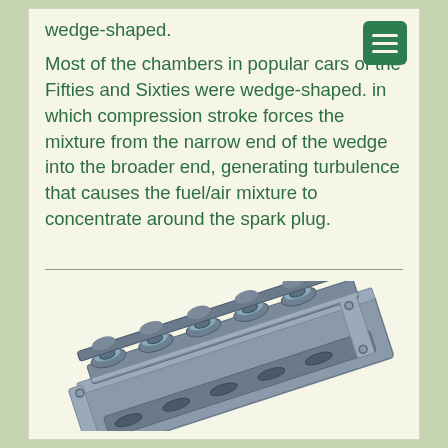wedge-shaped.
Most of the chambers in popular cars of the Fifties and Sixties were wedge-shaped. in which compression stroke forces the mixture from the narrow end of the wedge into the broader end, generating turbulence that causes the fuel/air mixture to concentrate around the spark plug.
[Figure (engineering-diagram): 3D rendered image of a multi-cylinder engine cylinder head assembly, shown in gray metallic finish with valves, camshafts, and valve train components visible, viewed at an angle]